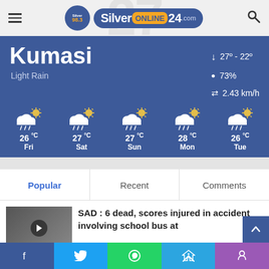Silver Online 24 - SilverOnline24.com
Kumasi
Light Rain
27° - 22°
73%
2.43 km/h
[Figure (infographic): 5-day weather forecast: Fri 26°C, Sat 27°C, Sun 27°C, Mon 28°C, Tue 26°C, all showing rain/cloud icon with sun]
Popular
Recent
Comments
SAD : 6 dead, scores injured in accident involving school bus at